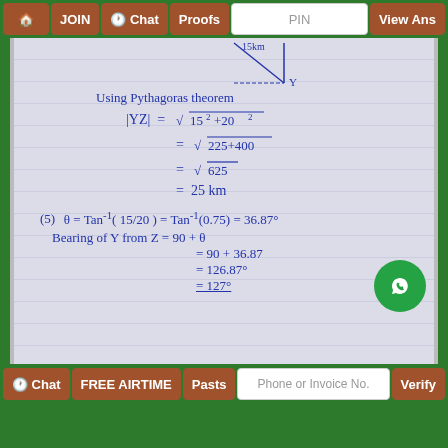🏠  JOIN  🕐 Chat  Proofs  PIN  View Ans
[Figure (photo): Handwritten math notebook page showing: diagram with 15km label, Pythagoras theorem calculation: |YZ| = sqrt(15^2 + 20^2) = sqrt(225+400) = sqrt(625) = 25 km. Then (5) theta = Tan^-1(15/20) = Tan^-1(0.75) = 36.87°. Bearing of Y from Z = 90 + θ = 90 + 36.87 = 126.87° = 127°]
Bearing of Y from Z = 90 + θ = 90 + 36.87 = 126.87° = 127°
🕐 Chat  FREE AIRTIME  Pasts  Phone or Invoice No.  Verify